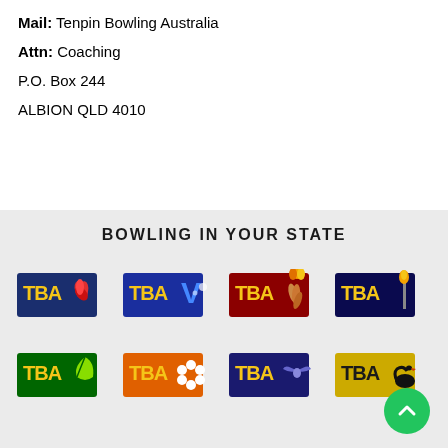Mail: Tenpin Bowling Australia
Attn: Coaching
P.O. Box 244
ALBION QLD 4010
BOWLING IN YOUR STATE
[Figure (logo): Eight TBA (Tenpin Bowling Australia) state logos arranged in a 4x2 grid on a light grey background, representing different Australian states with colored emblems.]